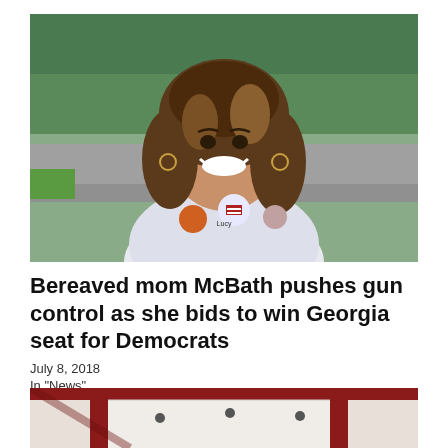[Figure (photo): Smiling woman with curly hair wearing a white t-shirt with campaign buttons including an 'I Voted' sticker, standing outdoors with trees in the background]
Bereaved mom McBath pushes gun control as she bids to win Georgia seat for Democrats
July 8, 2018
In "News"
[Figure (photo): Partial interior view of a building with red steel beams and white ceiling with recessed lights]